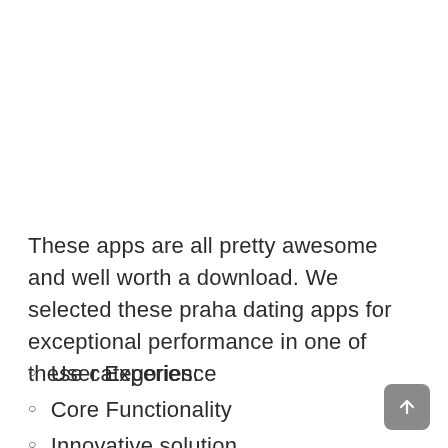These apps are all pretty awesome and well worth a download. We selected these praha dating apps for exceptional performance in one of these categories:
User Experience
Core Functionality
Innovative solution